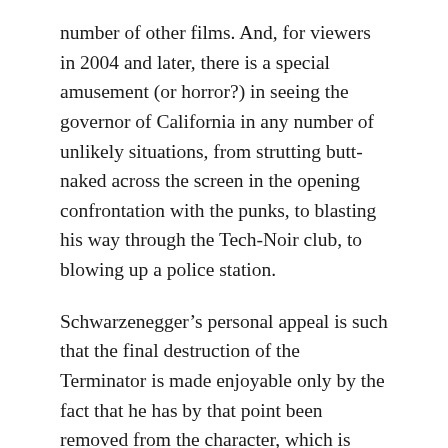number of other films. And, for viewers in 2004 and later, there is a special amusement (or horror?) in seeing the governor of California in any number of unlikely situations, from strutting butt-naked across the screen in the opening confrontation with the punks, to blasting his way through the Tech-Noir club, to blowing up a police station.
Schwarzenegger's personal appeal is such that the final destruction of the Terminator is made enjoyable only by the fact that he has by that point been removed from the character, which is now merely a mechanical puppet with none of Schwarzenegger's charm. Thus, as it is not Schwarzenegger that is being crushed in the machine press, but merely a prop, we need feel no sympathy or regret at its demise. We can also enjoy Hamilton's